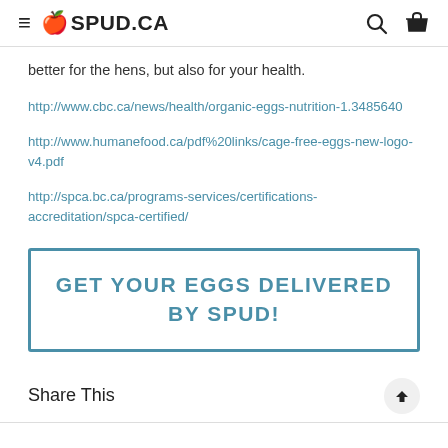SPUD.CA
better for the hens, but also for your health.
http://www.cbc.ca/news/health/organic-eggs-nutrition-1.3485640
http://www.humanefood.ca/pdf%20links/cage-free-eggs-new-logo-v4.pdf
http://spca.bc.ca/programs-services/certifications-accreditation/spca-certified/
GET YOUR EGGS DELIVERED BY SPUD!
Share This